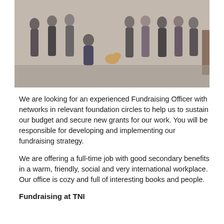[Figure (photo): Group photo of people standing and sitting outdoors on gravel, including a small dog]
We are looking for an experienced Fundraising Officer with networks in relevant foundation circles to help us to sustain our budget and secure new grants for our work. You will be responsible for developing and implementing our fundraising strategy.
We are offering a full-time job with good secondary benefits in a warm, friendly, social and very international workplace. Our office is cozy and full of interesting books and people.
Fundraising at TNI